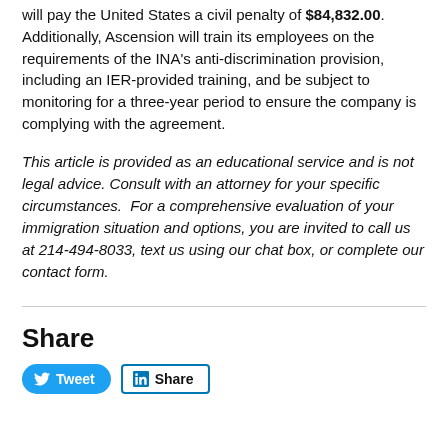will pay the United States a civil penalty of $84,832.00. Additionally, Ascension will train its employees on the requirements of the INA's anti-discrimination provision, including an IER-provided training, and be subject to monitoring for a three-year period to ensure the company is complying with the agreement.
This article is provided as an educational service and is not legal advice. Consult with an attorney for your specific circumstances. For a comprehensive evaluation of your immigration situation and options, you are invited to call us at 214-494-8033, text us using our chat box, or complete our contact form.
Share